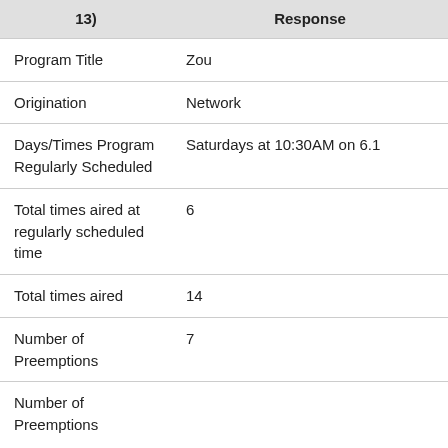| (…13) | Response |
| --- | --- |
| Program Title | Zou |
| Origination | Network |
| Days/Times Program Regularly Scheduled | Saturdays at 10:30AM on 6.1 |
| Total times aired at regularly scheduled time | 6 |
| Total times aired | 14 |
| Number of Preemptions | 7 |
| Number of Preemptions (partial) |  |